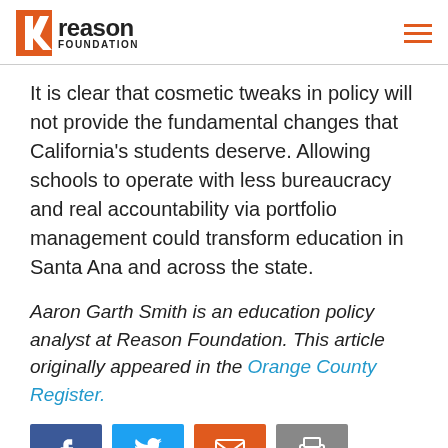Reason Foundation
It is clear that cosmetic tweaks in policy will not provide the fundamental changes that California's students deserve. Allowing schools to operate with less bureaucracy and real accountability via portfolio management could transform education in Santa Ana and across the state.
Aaron Garth Smith is an education policy analyst at Reason Foundation. This article originally appeared in the Orange County Register.
[Figure (infographic): Social sharing buttons: Facebook (blue), Twitter (light blue), Email (orange), Print (gray)]
MORE FROM CALIFORNIA, CHARTER SCHOOLS